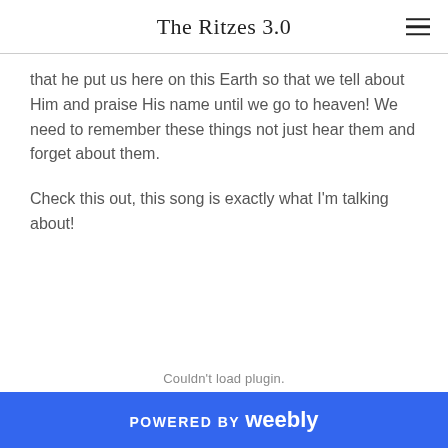The Ritzes 3.0
that he put us here on this Earth so that we tell about Him and praise His name until we go to heaven! We need to remember these things not just hear them and forget about them.
Check this out, this song is exactly what I'm talking about!
Couldn't load plugin.
POWERED BY weebly